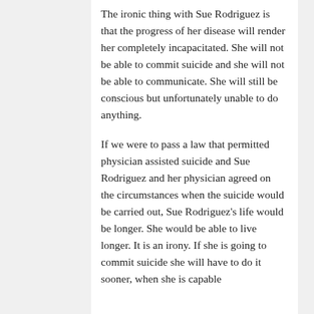The ironic thing with Sue Rodriguez is that the progress of her disease will render her completely incapacitated. She will not be able to commit suicide and she will not be able to communicate. She will still be conscious but unfortunately unable to do anything.
If we were to pass a law that permitted physician assisted suicide and Sue Rodriguez and her physician agreed on the circumstances when the suicide would be carried out, Sue Rodriguez's life would be longer. She would be able to live longer. It is an irony. If she is going to commit suicide she will have to do it sooner, when she is capable